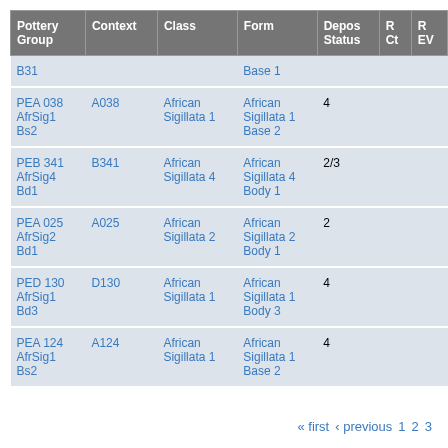| Pottery Group | Context | Class | Form | Depos Status | R Ct | R EV |
| --- | --- | --- | --- | --- | --- | --- |
| B31 |  |  | Base 1 |  |  |  |
| PEA 038 AfrSig1 Bs2 | A038 | African Sigillata 1 | African Sigillata 1 Base 2 | 4 |  |  |
| PEB 341 AfrSig4 Bd1 | B341 | African Sigillata 4 | African Sigillata 4 Body 1 | 2/3 |  |  |
| PEA 025 AfrSig2 Bd1 | A025 | African Sigillata 2 | African Sigillata 2 Body 1 | 2 |  |  |
| PED 130 AfrSig1 Bd3 | D130 | African Sigillata 1 | African Sigillata 1 Body 3 | 4 |  |  |
| PEA 124 AfrSig1 Bs2 | A124 | African Sigillata 1 | African Sigillata 1 Base 2 | 4 |  |  |
« first ‹ previous 1 2 3